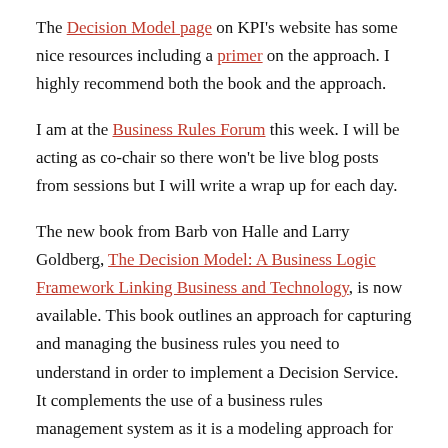The Decision Model page on KPI's website has some nice resources including a primer on the approach. I highly recommend both the book and the approach.
I am at the Business Rules Forum this week. I will be acting as co-chair so there won't be live blog posts from sessions but I will write a wrap up for each day.
The new book from Barb von Halle and Larry Goldberg, The Decision Model: A Business Logic Framework Linking Business and Technology, is now available. This book outlines an approach for capturing and managing the business rules you need to understand in order to implement a Decision Service. It complements the use of a business rules management system as it is a modeling approach for rule analysis and design. It has some nice features, not least a set of rules for checking your decision model for